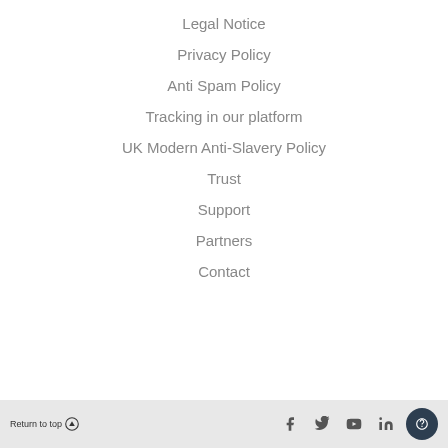Legal Notice
Privacy Policy
Anti Spam Policy
Tracking in our platform
UK Modern Anti-Slavery Policy
Trust
Support
Partners
Contact
Return to top